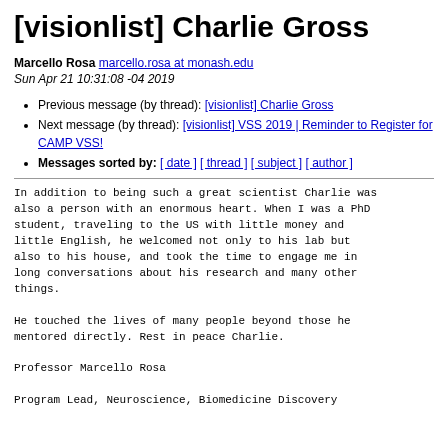[visionlist] Charlie Gross
Marcello Rosa marcello.rosa at monash.edu
Sun Apr 21 10:31:08 -04 2019
Previous message (by thread): [visionlist] Charlie Gross
Next message (by thread): [visionlist] VSS 2019 | Reminder to Register for CAMP VSS!
Messages sorted by: [ date ] [ thread ] [ subject ] [ author ]
In addition to being such a great scientist Charlie was
also a person with an enormous heart. When I was a PhD
student, traveling to the US with little money and
little English, he welcomed not only to his lab but
also to his house, and took the time to engage me in
long conversations about his research and many other
things.

He touched the lives of many people beyond those he
mentored directly. Rest in peace Charlie.

Professor Marcello Rosa

Program Lead, Neuroscience, Biomedicine Discovery